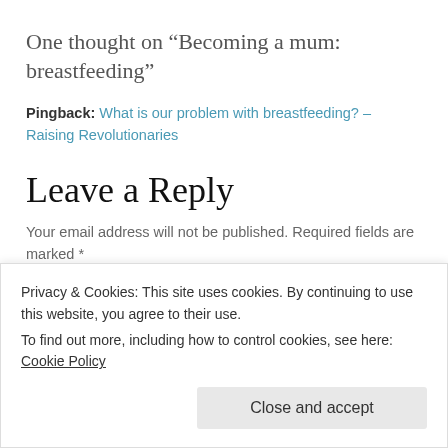One thought on “Becoming a mum: breastfeeding”
Pingback: What is our problem with breastfeeding? – Raising Revolutionaries
Leave a Reply
Your email address will not be published. Required fields are marked *
Comment *
Privacy & Cookies: This site uses cookies. By continuing to use this website, you agree to their use.
To find out more, including how to control cookies, see here: Cookie Policy
Close and accept